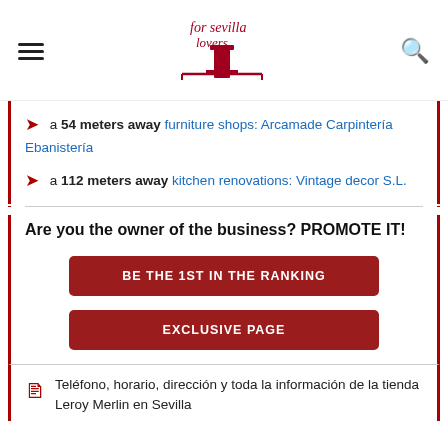For Sevilla Lovers — navigation header with hamburger menu, logo, and search icon
a 54 meters away furniture shops: Arcamade Carpintería Ebanistería
a 112 meters away kitchen renovations: Vintage decor S.L.
Are you the owner of the business? PROMOTE IT!
BE THE 1ST IN THE RANKING
EXCLUSIVE PAGE
Teléfono, horario, dirección y toda la información de la tienda Leroy Merlin en Sevilla